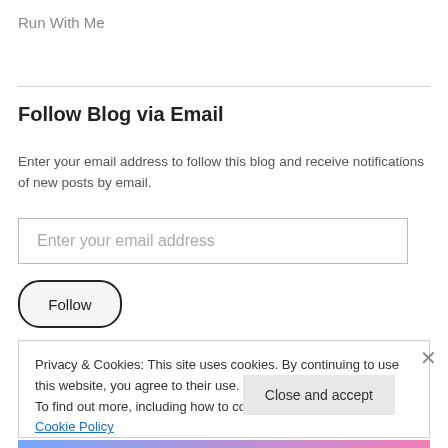Run With Me
Follow Blog via Email
Enter your email address to follow this blog and receive notifications of new posts by email.
Enter your email address
Follow
Privacy & Cookies: This site uses cookies. By continuing to use this website, you agree to their use.
To find out more, including how to control cookies, see here: Cookie Policy
Close and accept